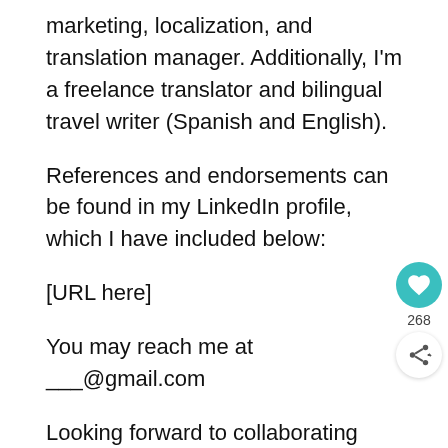marketing, localization, and translation manager. Additionally, I'm a freelance translator and bilingual travel writer (Spanish and English).
References and endorsements can be found in my LinkedIn profile, which I have included below:
[URL here]
You may reach me at ___@gmail.com
Looking forward to collaborating with you on this project!